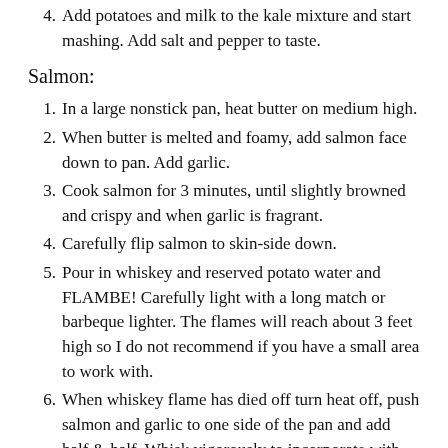4. Add potatoes and milk to the kale mixture and start mashing. Add salt and pepper to taste.
Salmon:
1. In a large nonstick pan, heat butter on medium high.
2. When butter is melted and foamy, add salmon face down to pan. Add garlic.
3. Cook salmon for 3 minutes, until slightly browned and crispy and when garlic is fragrant.
4. Carefully flip salmon to skin-side down.
5. Pour in whiskey and reserved potato water and FLAMBE! Carefully light with a long match or barbeque lighter. The flames will reach about 3 feet high so I do not recommend if you have a small area to work with.
6. When whiskey flame has died off turn heat off, push salmon and garlic to one side of the pan and add half & half. Whisk vigorously to incorporate with whiskey.
7. Turn heat back to medium high and continue cooking salmon